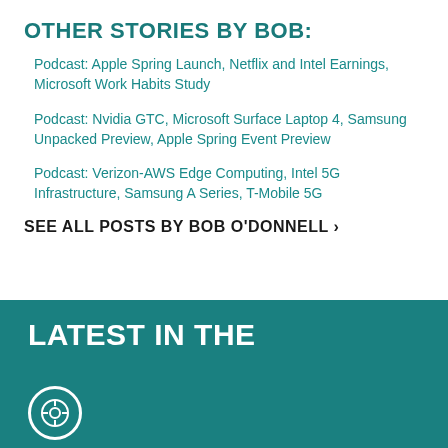OTHER STORIES BY BOB:
Podcast: Apple Spring Launch, Netflix and Intel Earnings, Microsoft Work Habits Study
Podcast: Nvidia GTC, Microsoft Surface Laptop 4, Samsung Unpacked Preview, Apple Spring Event Preview
Podcast: Verizon-AWS Edge Computing, Intel 5G Infrastructure, Samsung A Series, T-Mobile 5G
SEE ALL POSTS BY BOB O'DONNELL ›
LATEST IN THE